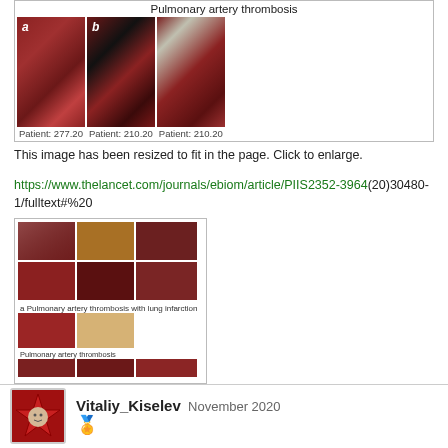[Figure (photo): Pulmonary artery thrombosis medical images showing three specimens labeled a, b, and an unlabeled third. Patient labels: 277.20, 210.20, 210.20.]
This image has been resized to fit in the page. Click to enlarge.
https://www.thelancet.com/journals/ebiom/article/PIIS2352-3964(20)30480-1/fulltext#%20
[Figure (photo): Thumbnail composite image showing multiple panels of pulmonary/tissue specimen photographs with section labels.]
Vitaliy_Kiselev  November 2020
The United States has again recorded more cases in 24 hours than any country over the course of the pandemic, with 120,000 infections